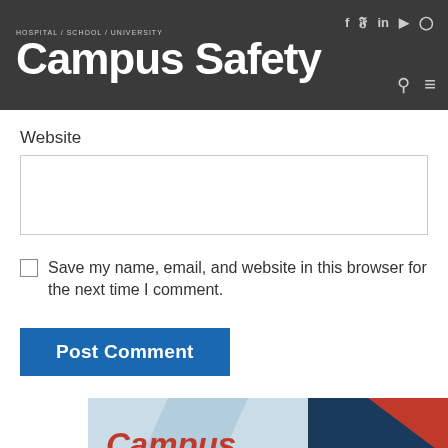[Figure (screenshot): Campus Safety website header with dark gray background, white Campus Safety logo with tagline HOSPITAL / SCHOOL / UNIVERSITY, social media icons (f, twitter, in, youtube, instagram), search and hamburger menu icons]
Website
Save my name, email, and website in this browser for the next time I comment.
Post Comment
[Figure (illustration): Campus Safety Online Summit banner ad with red Campus Safety logo text, geometric shapes in blue and red, text: ONLINE SUMMIT, NOVEMBER 30-DECEMBER 1]